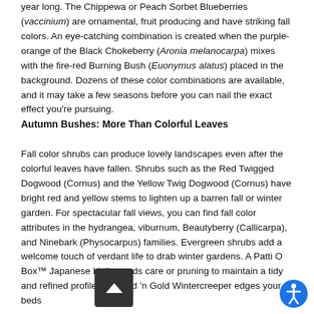year long. The Chippewa or Peach Sorbet Blueberries (vaccinium) are ornamental, fruit producing and have striking fall colors. An eye-catching combination is created when the purple-orange of the Black Chokeberry (Aronia melanocarpa) mixes with the fire-red Burning Bush (Euonymus alatus) placed in the background. Dozens of these color combinations are available, and it may take a few seasons before you can nail the exact effect you're pursuing.
Autumn Bushes: More Than Colorful Leaves
Fall color shrubs can produce lovely landscapes even after the colorful leaves have fallen. Shrubs such as the Red Twigged Dogwood (Cornus) and the Yellow Twig Dogwood (Cornus) have bright red and yellow stems to lighten up a barren fall or winter garden. For spectacular fall views, you can find fall color attributes in the hydrangea, viburnum, Beautyberry (Callicarpa), and Ninebark (Physocarpus) families. Evergreen shrubs add a welcome touch of verdant life to drab winter gardens. A Patti O Box™ Japanese Holly needs care or pruning to maintain a tidy and refined profile. Emerald 'n Gold Wintercreeper edges your beds